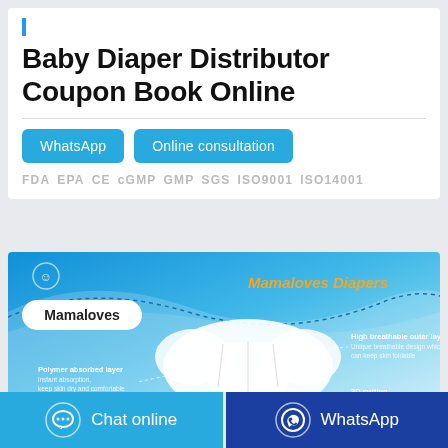Baby Diaper Distributor Coupon Book Online
WhatsApp   Online consultation
FDA  EPA  CE  cGMP  GMP  SGS  ISO9001  ISO14001
[Figure (photo): Mamaloves Diapers product packaging photo showing a diaper with labeled layers: Polymer absorbed layer, High breathable outer layer, 3D cutting]
Chat online   WhatsApp